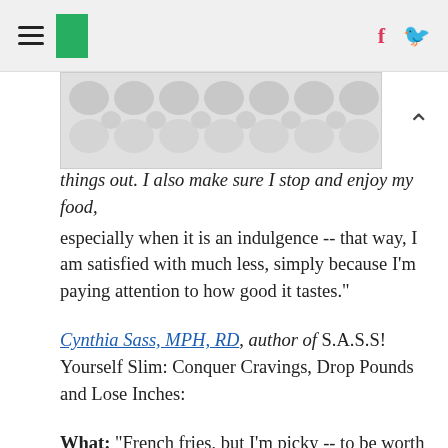[HuffPost navigation header with hamburger menu, logo, facebook and twitter icons]
[Figure (illustration): Decorative banner image with polka dot / bubble pattern in light grey]
things out. I also make sure I stop and enjoy my food, especially when it is an indulgence -- that way, I am satisfied with much less, simply because I'm paying attention to how good it tastes."
Cynthia Sass, MPH, RD, author of S.A.S.S! Yourself Slim: Conquer Cravings, Drop Pounds and Lose Inches:
What: "French fries, but I'm picky -- to be worth it, they have to be fresh, whole, hand-cut potatoes (preferably skin-on), cooked in peanut or olive oil."